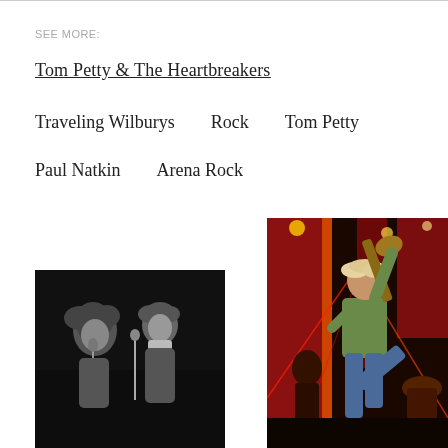SEE MORE:
Tom Petty & The Heartbreakers
Traveling Wilburys
Rock
Tom Petty
Paul Natkin
Arena Rock
[Figure (photo): Black and white photo of two performers on stage, one woman with long curly hair singing into a microphone and a man beside her]
[Figure (photo): Color photo of a male performer on stage in a green jacket raising a guitar overhead with one leg kicked up, with laser lights behind him]